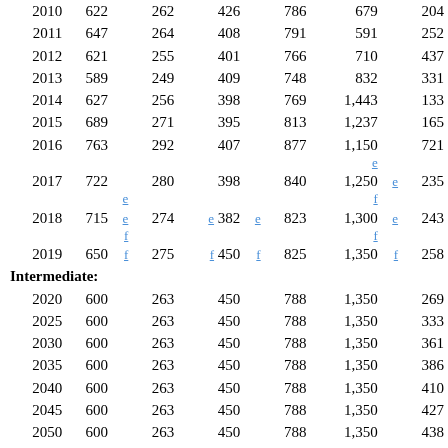| Year | Col1 |  | Col2 |  | Col3 |  | Col4 |  | Col5 |  | Col6 |
| --- | --- | --- | --- | --- | --- | --- | --- | --- | --- | --- | --- |
| 2010 | 622 |  | 262 |  | 426 |  | 786 |  | 679 |  | 204 |
| 2011 | 647 |  | 264 |  | 408 |  | 791 |  | 591 |  | 252 |
| 2012 | 621 |  | 255 |  | 401 |  | 766 |  | 710 |  | 437 |
| 2013 | 589 |  | 249 |  | 409 |  | 748 |  | 832 |  | 331 |
| 2014 | 627 |  | 256 |  | 398 |  | 769 |  | 1,443 |  | 133 |
| 2015 | 689 |  | 271 |  | 395 |  | 813 |  | 1,237 |  | 165 |
| 2016 | 763 |  | 292 |  | 407 |  | 877 |  | 1,150 |  | 721 |
| 2017 | 722 |  | 280 |  | 398 |  | 840 |  | 1,250 e |  | 235 |
| 2018 | 715 e |  | 274 |  | e 382 e |  | 823 |  | 1,300 e |  | 243 |
| 2019 | 650 f |  | 275 |  | f 450 f |  | 825 |  | 1,350 f |  | 258 |
| Intermediate: |  |  |  |  |  |  |  |  |  |  |  |
| 2020 | 600 |  | 263 |  | 450 |  | 788 |  | 1,350 |  | 269 |
| 2025 | 600 |  | 263 |  | 450 |  | 788 |  | 1,350 |  | 333 |
| 2030 | 600 |  | 263 |  | 450 |  | 788 |  | 1,350 |  | 361 |
| 2035 | 600 |  | 263 |  | 450 |  | 788 |  | 1,350 |  | 386 |
| 2040 | 600 |  | 263 |  | 450 |  | 788 |  | 1,350 |  | 410 |
| 2045 | 600 |  | 263 |  | 450 |  | 788 |  | 1,350 |  | 427 |
| 2050 | 600 |  | 263 |  | 450 |  | 788 |  | 1,350 |  | 438 |
| 2055 | 600 |  | 263 |  | 450 |  | 788 |  | 1,350 |  | 446 |
| 2060 | 600 |  | 263 |  | 450 |  | 788 |  | 1,350 |  | 452 |